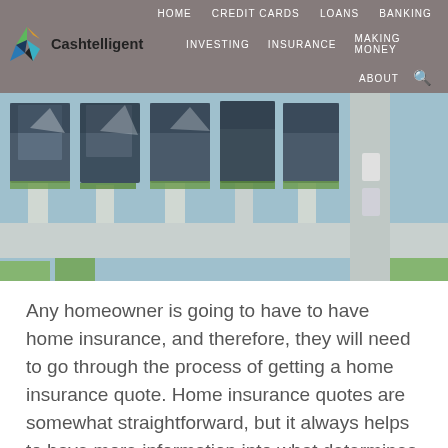HOME  CREDIT CARDS  LOANS  BANKING  INVESTING  INSURANCE  MAKING MONEY  ABOUT
[Figure (logo): Cashtelligent logo with colorful diamond/triangle icon and text 'Cashtelligent']
[Figure (photo): Aerial view of residential neighborhood with houses, driveways and roads photographed from above]
Any homeowner is going to have to have home insurance, and therefore, they will need to go through the process of getting a home insurance quote. Home insurance quotes are somewhat straightforward, but it always helps to have more information into what determines the quote that you get and what factors will influence the price that you are quoted.